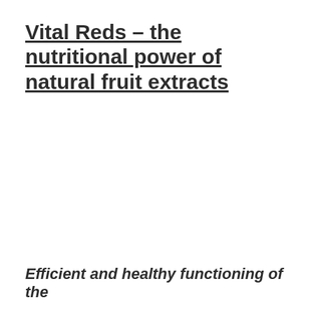Vital Reds – the nutritional power of natural fruit extracts
Efficient and healthy functioning of the